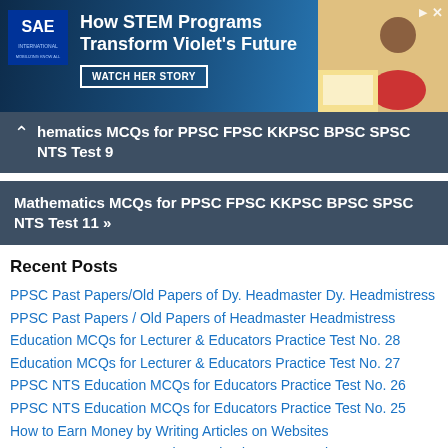[Figure (photo): SAE advertisement banner: 'How STEM Programs Transform Violet's Future' with WATCH HER STORY button, SAE logo on left, photo of student on right]
hematics MCQs for PPSC FPSC KKPSC BPSC SPSC NTS Test 9
Mathematics MCQs for PPSC FPSC KKPSC BPSC SPSC NTS Test 11 »
Recent Posts
PPSC Past Papers/Old Papers of Dy. Headmaster Dy. Headmistress
PPSC Past Papers / Old Papers of Headmaster Headmistress
Education MCQs for Lecturer & Educators Practice Test No. 28
Education MCQs for Lecturer & Educators Practice Test No. 27
PPSC NTS Education MCQs for Educators Practice Test No. 26
PPSC NTS Education MCQs for Educators Practice Test No. 25
How to Earn Money by Writing Articles on Websites
PPSC FPSC Lecturer Zoology Solved MCQs Practice Test 2